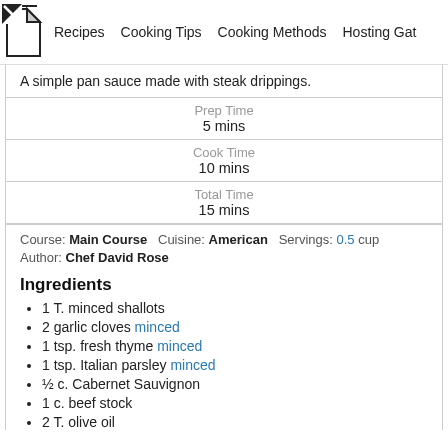Recipes  Cooking Tips  Cooking Methods  Hosting Gat
A simple pan sauce made with steak drippings.
Prep Time
5 mins
Cook Time
10 mins
Total Time
15 mins
Course: Main Course   Cuisine: American   Servings: 0.5 cup
Author: Chef David Rose
Ingredients
1 T. minced shallots
2 garlic cloves minced
1 tsp. fresh thyme minced
1 tsp. Italian parsley minced
½ c. Cabernet Sauvignon
1 c. beef stock
2 T. olive oil